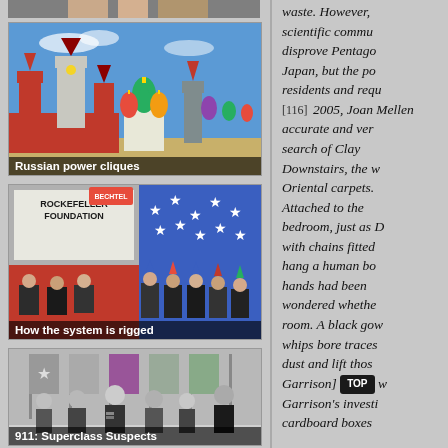[Figure (photo): Partial top strip of an image, cropped]
[Figure (photo): Saint Basil's Cathedral and Kremlin towers in Moscow, Red Square — Russian architecture]
Russian power cliques
[Figure (illustration): Political illustration showing Rockefeller Foundation and Bechtel logos with stylized political figures and American flag imagery]
How the system is rigged
[Figure (photo): Black and white photo of suited men in a formal setting, military flags in background]
911: Superclass Suspects
waste. However, scientific commu disprove Pentago Japan, but the po residents and requ 2005, Joan Mellen accurate and ver search of Clay Downstairs, the w Oriental carpets. Attached to the bedroom, just as D with chains fitted hang a human bo hands had been wondered whethe room. A black gow whips bore traces dust and lift thos Garrison] didn't w Garrison's investi cardboard boxes